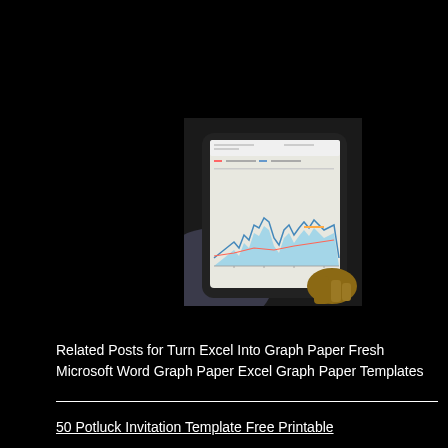[Figure (photo): A person holding a tablet/iPad displaying a chart with a blue area graph, shown against a dark background. The tablet has a dark frame and the person's hand is visible holding the bottom right corner.]
Related Posts for Turn Excel Into Graph Paper Fresh Microsoft Word Graph Paper Excel Graph Paper Templates
50 Potluck Invitation Template Free Printable